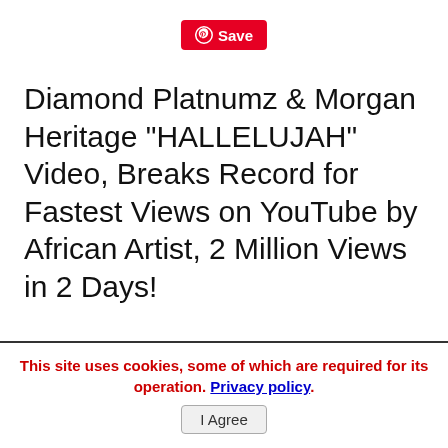[Figure (other): Pinterest Save button — red rounded rectangle with Pinterest logo icon and 'Save' text in white]
Diamond Platnumz & Morgan Heritage "HALLELUJAH" Video, Breaks Record for Fastest Views on YouTube by African Artist, 2 Million Views in 2 Days!
This site uses cookies, some of which are required for its operation. Privacy policy. I Agree